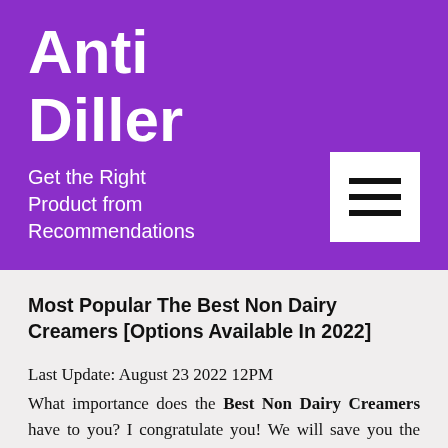Anti Diller
Get the Right Product from Recommendations
Most Popular The Best Non Dairy Creamers [Options Available In 2022]
Last Update: August 23 2022 12PM
What importance does the Best Non Dairy Creamers have to you? I congratulate you! We will save you the trouble of reading through thousands of reviews.